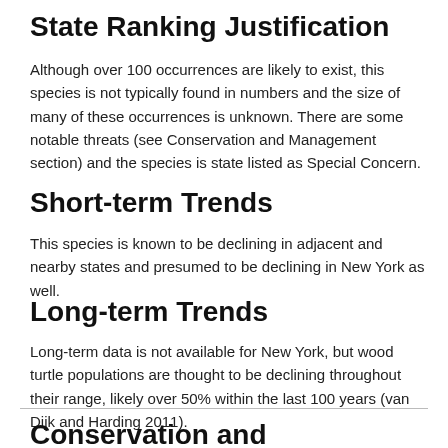State Ranking Justification
Although over 100 occurrences are likely to exist, this species is not typically found in numbers and the size of many of these occurrences is unknown. There are some notable threats (see Conservation and Management section) and the species is state listed as Special Concern.
Short-term Trends
This species is known to be declining in adjacent and nearby states and presumed to be declining in New York as well.
Long-term Trends
Long-term data is not available for New York, but wood turtle populations are thought to be declining throughout their range, likely over 50% within the last 100 years (van Dijk and Harding 2011).
Conservation and Management